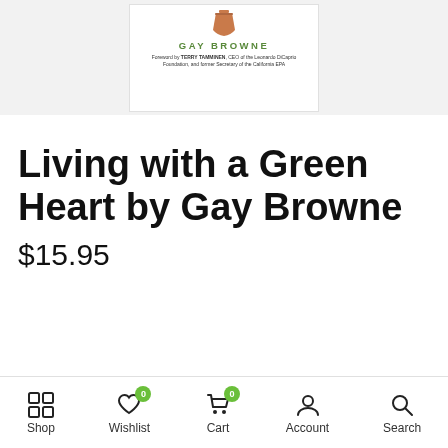[Figure (photo): Book cover of 'Living with a Green Heart' by Gay Browne, showing a terracotta pot illustration, the author's name in green letters, and a foreword credit to Terry Tamminen.]
Living with a Green Heart by Gay Browne
$15.95
Shop | Wishlist 0 | Cart 0 | Account | Search